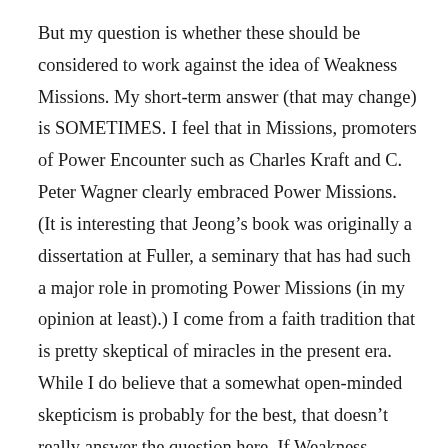But my question is whether these should be considered to work against the idea of Weakness Missions. My short-term answer (that may change) is SOMETIMES. I feel that in Missions, promoters of Power Encounter such as Charles Kraft and C. Peter Wagner clearly embraced Power Missions. (It is interesting that Jeong’s book was originally a dissertation at Fuller, a seminary that has had such a major role in promoting Power Missions (in my opinion at least).) I come from a faith tradition that is pretty skeptical of miracles in the present era. While I do believe that a somewhat open-minded skepticism is probably for the best, that doesn’t really answer the question here. If Weakness means demonstrating dependence on the power of God rather